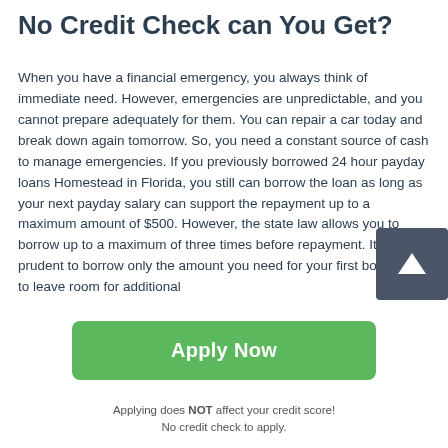No Credit Check can You Get?
When you have a financial emergency, you always think of immediate need. However, emergencies are unpredictable, and you cannot prepare adequately for them. You can repair a car today and break down again tomorrow. So, you need a constant source of cash to manage emergencies. If you previously borrowed 24 hour payday loans Homestead in Florida, you still can borrow the loan as long as your next payday salary can support the repayment up to a maximum amount of $500. However, the state law allows you to borrow up to a maximum of three times before repayment. It is prudent to borrow only the amount you need for your first borrowing to leave room for additional
[Figure (other): Dark grey rounded square button with white upward arrow icon (scroll-to-top button)]
Apply Now
Applying does NOT affect your credit score!
No credit check to apply.